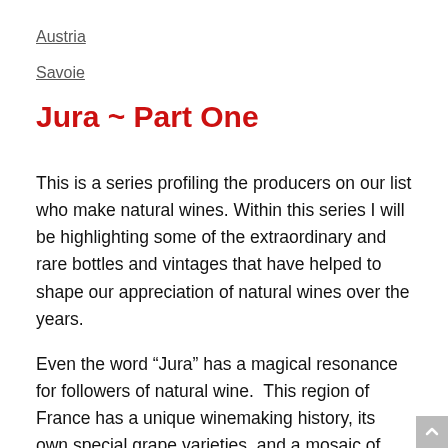Austria
Savoie
Jura ~ Part One
This is a series profiling the producers on our list who make natural wines. Within this series I will be highlighting some of the extraordinary and rare bottles and vintages that have helped to shape our appreciation of natural wines over the years.
Even the word “Jura” has a magical resonance for followers of natural wine.  This region of France has a unique winemaking history, its own special grape varieties, and a mosaic of beautiful terroirs. Small